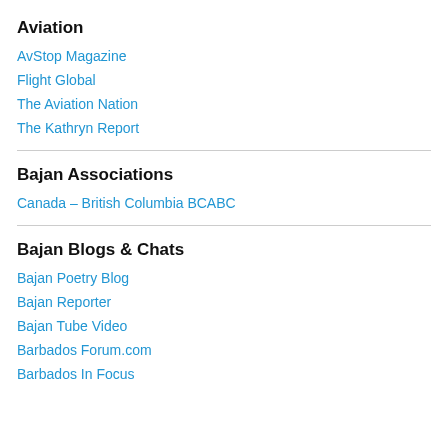Aviation
AvStop Magazine
Flight Global
The Aviation Nation
The Kathryn Report
Bajan Associations
Canada – British Columbia BCABC
Bajan Blogs & Chats
Bajan Poetry Blog
Bajan Reporter
Bajan Tube Video
Barbados Forum.com
Barbados In Focus